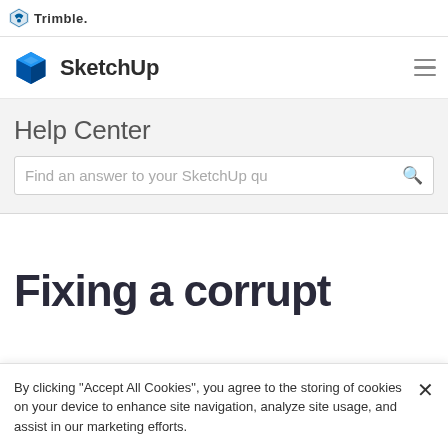Trimble
SketchUp
Help Center
Find an answer to your SketchUp qu…
Fixing a corrupt
By clicking “Accept All Cookies”, you agree to the storing of cookies on your device to enhance site navigation, analyze site usage, and assist in our marketing efforts.